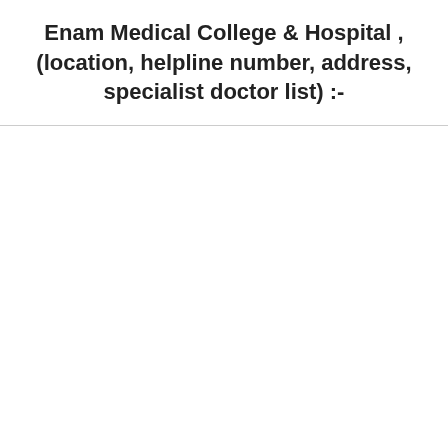Enam Medical College & Hospital , (location, helpline number, address, specialist doctor list) :-